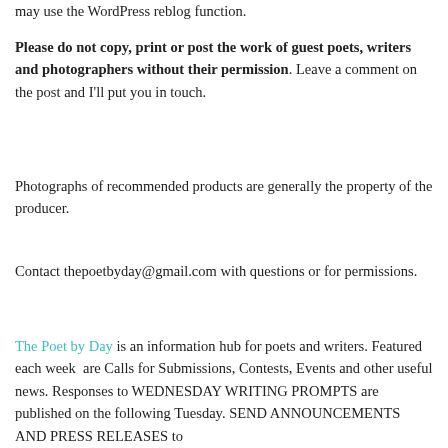may use the WordPress reblog function.
Please do not copy, print or post the work of guest poets, writers and photographers without their permission. Leave a comment on the post and I'll put you in touch.
Photographs of recommended products are generally the property of the producer.
Contact thepoetbyday@gmail.com with questions or for permissions.
The Poet by Day is an information hub for poets and writers. Featured each week  are Calls for Submissions, Contests, Events and other useful news. Responses to WEDNESDAY WRITING PROMPTS are published on the following Tuesday. SEND ANNOUNCEMENTS AND PRESS RELEASES to